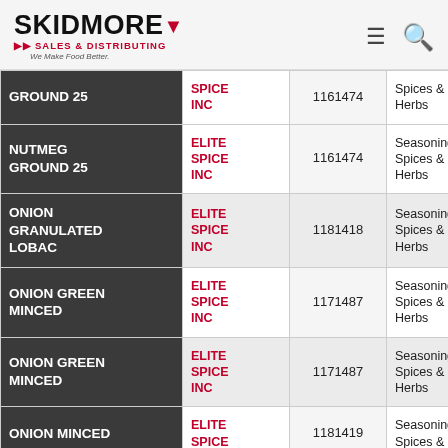SKIDMORE SALES & DISTRIBUTING — We Make Food Better.
| Product | Brand | ID | Category |  |
| --- | --- | --- | --- | --- |
| GROUND 25 | ELITE SPICE INC | 1161474 | Spices & Herbs | De |
| NUTMEG GROUND 25 | ELITE SPICE INC | 1161474 | Seasonings, Spices & Herbs | No De |
| ONION GRANULATED LOBAC | ELITE SPICE INC | 1181418 | Seasonings, Spices & Herbs | No De |
| ONION GREEN MINCED | ELITE SPICE INC | 1171487 | Seasonings, Spices & Herbs | No |
| ONION GREEN MINCED | ELITE SPICE INC | 1171487 | Seasonings, Spices & Herbs | No De |
| ONION MINCED | ELITE SPICE | 1181419 | Seasonings, Spices & | No De |